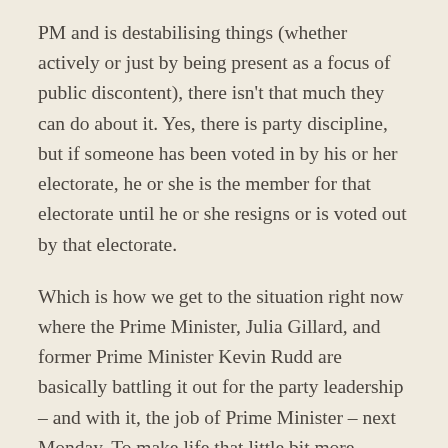PM and is destabilising things (whether actively or just by being present as a focus of public discontent), there isn't that much they can do about it.  Yes, there is party discipline, but if someone has been voted in by his or her electorate, he or she is the member for that electorate until he or she resigns or is voted out by that electorate.
Which is how we get to the situation right now where the Prime Minister, Julia Gillard, and former Prime Minister Kevin Rudd are basically battling it out for the party leadership – and with it, the job of Prime Minister – next Monday.  To make life that little bit more piquant, Rudd is very, very popular with the electorate and quite unpopular within the party.  Gillard, conversely, is very unpopular with the electorate but pretty well-liked within the party.  This is a bit of a